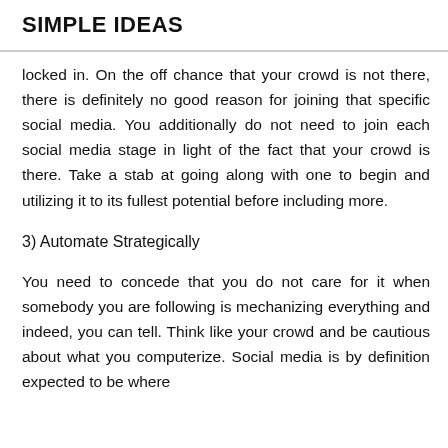SIMPLE IDEAS
locked in. On the off chance that your crowd is not there, there is definitely no good reason for joining that specific social media. You additionally do not need to join each social media stage in light of the fact that your crowd is there. Take a stab at going along with one to begin and utilizing it to its fullest potential before including more.
3) Automate Strategically
You need to concede that you do not care for it when somebody you are following is mechanizing everything and indeed, you can tell. Think like your crowd and be cautious about what you computerize. Social media is by definition expected to be where